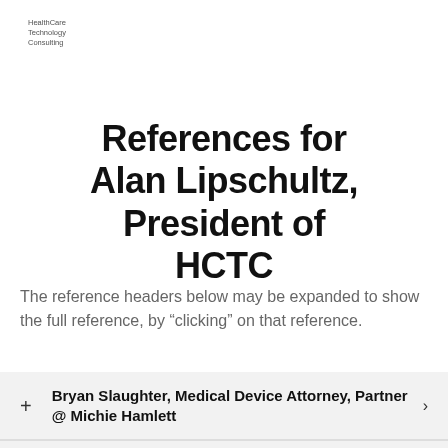[Figure (logo): HealthCare Technology Consulting logo text in top left corner]
References for Alan Lipschultz, President of HCTC
The reference headers below may be expanded to show the full reference, by “clicking” on that reference.
Bryan Slaughter, Medical Device Attorney, Partner @ Michie Hamlett
Peter Mullenix, Medical Device Attorney, Partner @ Friedman | Rubin